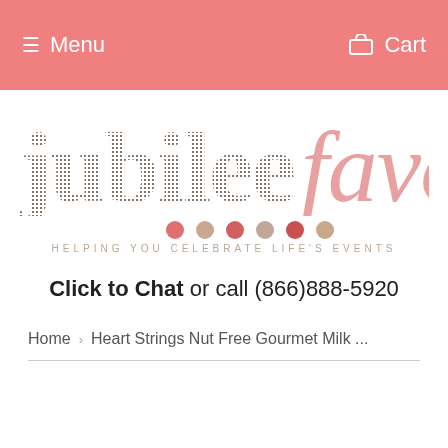Menu   Cart
[Figure (logo): Jubilee Favors logo — 'jubilee' in dark brown dotted/textured serif, 'favors' in pink italic, decorative colored dots below, tagline 'HELPING YOU CELEBRATE LIFE'S EVENTS']
Click to Chat or call (866)888-5920
Home › Heart Strings Nut Free Gourmet Milk ...